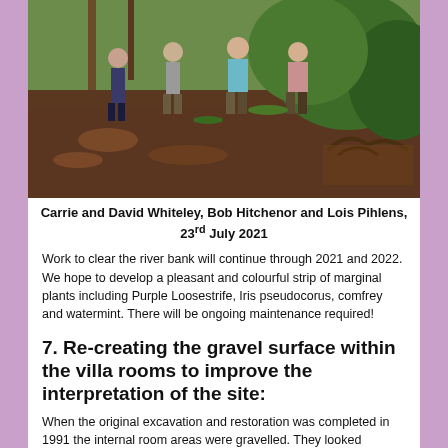[Figure (photo): Outdoor scene showing people clearing a river bank. Several people are visible standing on cleared muddy ground near trees and dense vegetation. The ground shows exposed soil and roots.]
Carrie and David Whiteley, Bob Hitchenor and Lois Pihlens, 23rd July 2021
Work to clear the river bank will continue through 2021 and 2022. We hope to develop a pleasant and colourful strip of marginal plants including Purple Loosestrife, Iris pseudocorus, comfrey and watermint. There will be ongoing maintenance required!
7. Re-creating the gravel surface within the villa rooms to improve the interpretation of the site:
When the original excavation and restoration was completed in 1991 the internal room areas were gravelled. They looked splendid and the gravel within the room areas greatly enhanced